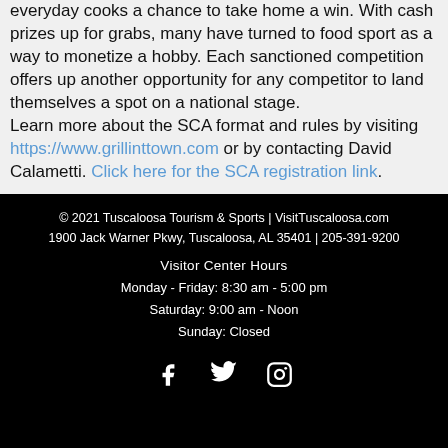everyday cooks a chance to take home a win. With cash prizes up for grabs, many have turned to food sport as a way to monetize a hobby. Each sanctioned competition offers up another opportunity for any competitor to land themselves a spot on a national stage. Learn more about the SCA format and rules by visiting https://www.grillinttown.com or by contacting David Calametti. Click here for the SCA registration link.
© 2021 Tuscaloosa Tourism & Sports | VisitTuscaloosa.com
1900 Jack Warner Pkwy, Tuscaloosa, AL 35401 | 205-391-9200

Visitor Center Hours
Monday - Friday: 8:30 am - 5:00 pm
Saturday: 9:00 am - Noon
Sunday: Closed
[Figure (illustration): Social media icons: Facebook, Twitter, Instagram in white on black background]